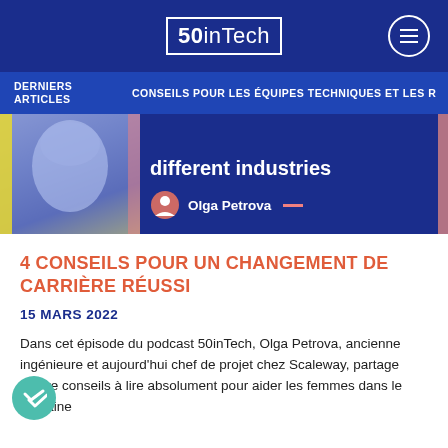50inTech
DERNIERS ARTICLES   CONSEILS POUR LES ÉQUIPES TECHNIQUES ET LES R
[Figure (photo): Hero image showing a woman's face with blue color overlay on the left, and text 'different industries' with 'Olga Petrova' byline on the right, on a dark blue background]
4 CONSEILS POUR UN CHANGEMENT DE CARRIÈRE RÉUSSI
15 MARS 2022
Dans cet épisode du podcast 50inTech, Olga Petrova, ancienne ingénieure et aujourd'hui chef de projet chez Scaleway, partage quatre conseils à lire absolument pour aider les femmes dans le domaine